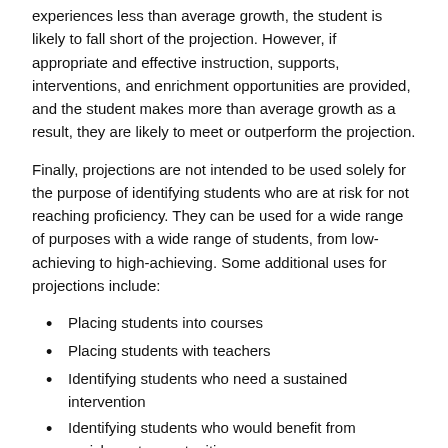experiences less than average growth, the student is likely to fall short of the projection. However, if appropriate and effective instruction, supports, interventions, and enrichment opportunities are provided, and the student makes more than average growth as a result, they are likely to meet or outperform the projection.
Finally, projections are not intended to be used solely for the purpose of identifying students who are at risk for not reaching proficiency. They can be used for a wide range of purposes with a wide range of students, from low-achieving to high-achieving. Some additional uses for projections include:
Placing students into courses
Placing students with teachers
Identifying students who need a sustained intervention
Identifying students who would benefit from enrichment opportunities
Planning for differentiated instruction in the classroom